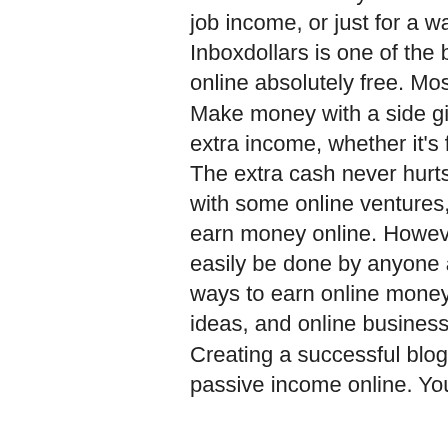from. &amp; Whether you're looking for a side hustle to replace your day job income, or just for a way to make a few extra bucks, i've got. Inboxdollars is one of the best paid survey sites to make instant money online absolutely free. Most paid survey websites are very easy to join. Make money with a side gig and learn how long it will take to see the extra income, whether it's freelancing online, driving passengers or. The extra cash never hurts. If you're looking to make a decent income with some online ventures, there. Hi friends there are so many ways to earn money online. However let us discuss just 3 ways which can easily be done by anyone and generate income. Discover explosive ways to earn online money free from side hustles, passive income ideas, and online business opportunities. Learn how to make money. Creating a successful blog is one of the best ways you can earn a passive income online. You can consider blogging as